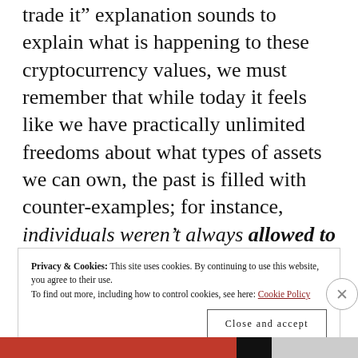trade it" explanation sounds to explain what is happening to these cryptocurrency values, we must remember that while today it feels like we have practically unlimited freedoms about what types of assets we can own, the past is filled with counter-examples; for instance, individuals weren't always allowed to freely own gold in this country:
Privacy & Cookies: This site uses cookies. By continuing to use this website, you agree to their use. To find out more, including how to control cookies, see here: Cookie Policy